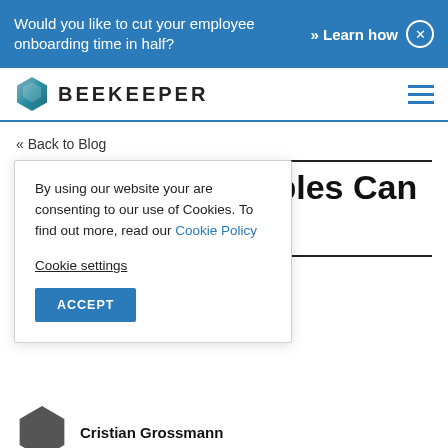Would you like to cut your employee onboarding time in half? » Learn how ×
[Figure (logo): Beekeeper logo with hexagon icon and BEEKEEPER wordmark]
« Back to Blog
By using our website your are consenting to our use of Cookies. To find out more, read our Cookie Policy
Cookie settings
ACCEPT
Principles Can
s
Cristian Grossmann